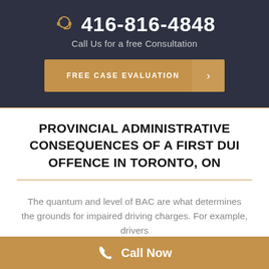416-816-4848
Call Us for a free Consultation
FREE CASE EVALUATION
PROVINCIAL ADMINISTRATIVE CONSEQUENCES OF A FIRST DUI OFFENCE IN TORONTO, ON
The quantum and level of BAC are what determines the grounds for impaired driving charges. For example, drivers
Call Now